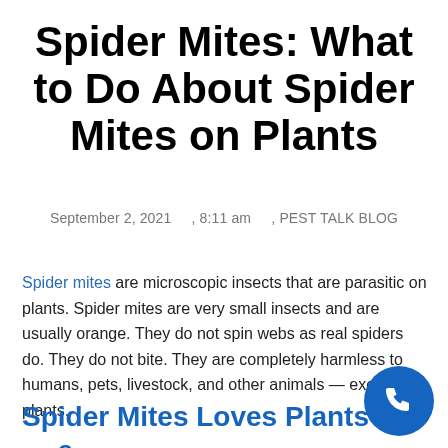Spider Mites: What to Do About Spider Mites on Plants
September 2, 2021 , 8:11 am , PEST TALK BLOG
Spider mites are microscopic insects that are parasitic on plants. Spider mites are very small insects and are usually orange. They do not spin webs as real spiders do. They do not bite. They are completely harmless to humans, pets, livestock, and other animals — except for plants.
Spider Mites Loves Plants — a...